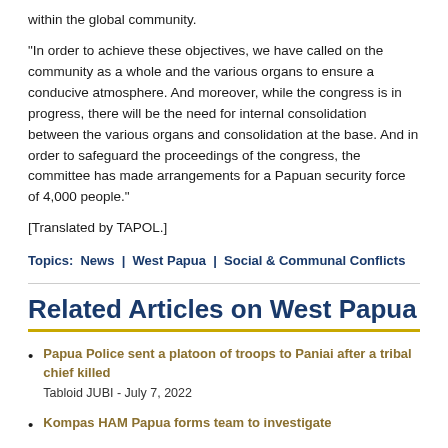within the global community.
"In order to achieve these objectives, we have called on the community as a whole and the various organs to ensure a conducive atmosphere. And moreover, while the congress is in progress, there will be the need for internal consolidation between the various organs and consolidation at the base. And in order to safeguard the proceedings of the congress, the committee has made arrangements for a Papuan security force of 4,000 people."
[Translated by TAPOL.]
Topics:  News  |  West Papua  |  Social & Communal Conflicts
Related Articles on West Papua
Papua Police sent a platoon of troops to Paniai after a tribal chief killed
Tabloid JUBI - July 7, 2022
Kompas HAM Papua forms team to investigate